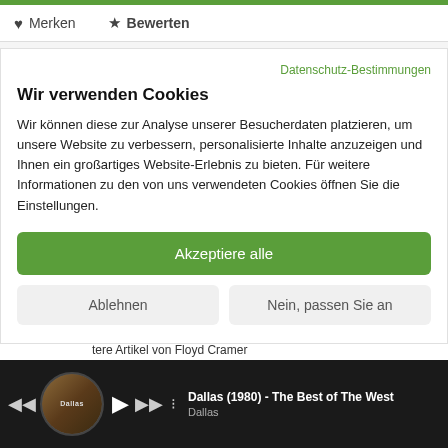♥ Merken  ★ Bewerten
| Artikel-Nr.: | CDLK4548 |
| --- | --- |
Datenschutz-Bestimmungen
Wir verwenden Cookies
Wir können diese zur Analyse unserer Besucherdaten platzieren, um unsere Website zu verbessern, personalisierte Inhalte anzuzeigen und Ihnen ein großartiges Website-Erlebnis zu bieten. Für weitere Informationen zu den von uns verwendeten Cookies öffnen Sie die Einstellungen.
Akzeptiere alle
Ablehnen
Nein, passen Sie an
Bewertungen 0
Bewertungen lesen, schreiben und diskutieren... mehr
Dallas (1980) - The Best of The West
Dallas
Weitere Artikel von Floyd Cramer